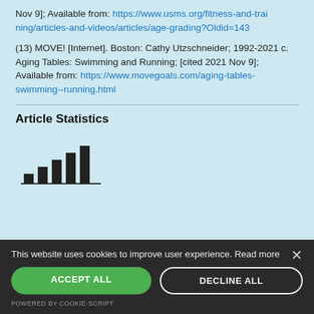Nov 9]; Available from: https://www.usms.org/fitness-and-training/articles-and-videos/articles/age-grading?Oldid=143
(13) MOVE! [Internet]. Boston: Cathy Utzschneider; 1992-2021 c. Aging Tables: Swimming and Running; [cited 2021 Nov 9]; Available from: https://www.movegoals.com/aging-tables-swimming--running.html
Article Statistics
[Figure (bar-chart): Small bar chart icon representing article statistics, showing 5 bars of varying heights on a baseline]
This website uses cookies to improve user experience. Read more
ACCEPT ALL
DECLINE ALL
POWERED BY COOKIE-SCRIPT